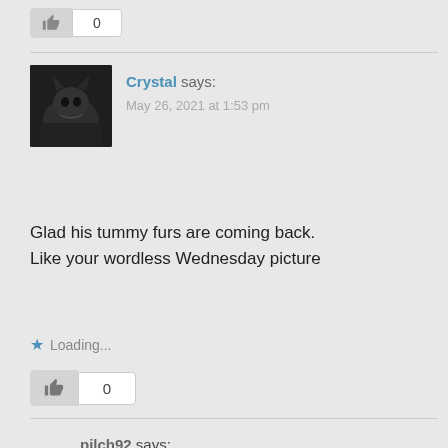[Figure (photo): Thumbs up / like button with count 0 at top of page]
Crystal says:
May 26, 2021 at 1:53 pm
[Figure (photo): Avatar image of a black and white cat]
Glad his tummy furs are coming back. Like your wordless Wednesday picture
Loading...
[Figure (other): Thumbs up like button with count 0]
pilch92 says:
May 26, 2021 at 8:13 pm